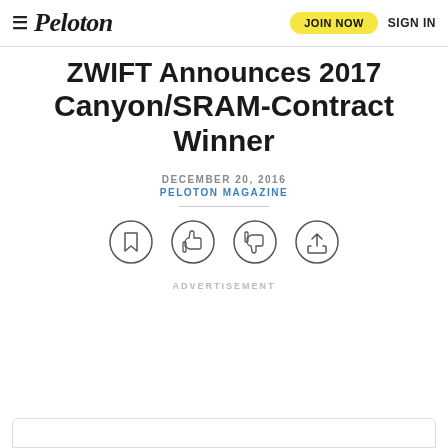Peloton — JOIN NOW  SIGN IN
ZWIFT Announces 2017 Canyon/SRAM-Contract Winner
DECEMBER 20, 2016
PELOTON MAGAZINE
[Figure (infographic): Four circular icon buttons: bookmark, thumbs up, thumbs down, share]
ADVERTISEMENT